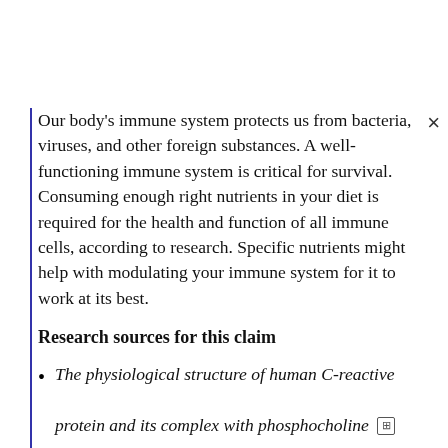Our body's immune system protects us from bacteria, viruses, and other foreign substances. A well-functioning immune system is critical for survival. Consuming enough right nutrients in your diet is required for the health and function of all immune cells, according to research. Specific nutrients might help with modulating your immune system for it to work at its best.
Research sources for this claim
The physiological structure of human C-reactive protein and its complex with phosphocholine [external link]
You are welcome to explore 34 other nutrients that share this research-backed claim in our